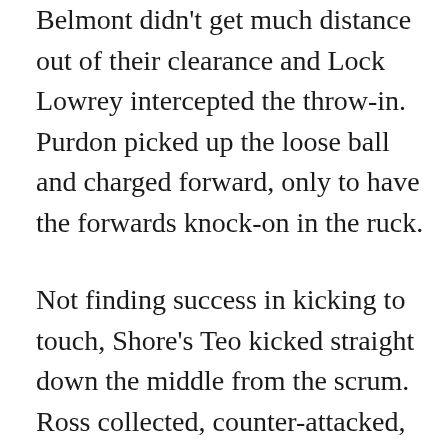Belmont didn't get much distance out of their clearance and Lock Lowrey intercepted the throw-in.  Purdon picked up the loose ball and charged forward, only to have the forwards knock-on in the ruck.
Not finding success in kicking to touch, Shore's Teo kicked straight down the middle from the scrum.  Ross collected, counter-attacked, and brought the ball